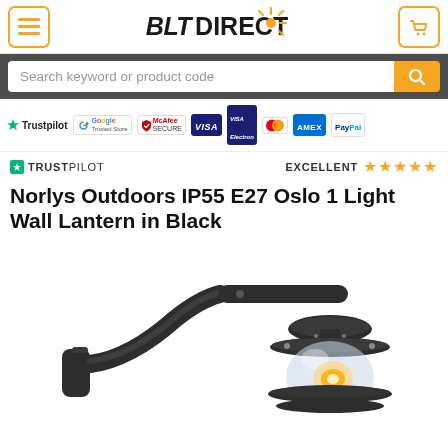[Figure (logo): BLT Direct logo with sun/star icon, menu hamburger button on left, shopping cart on right]
[Figure (screenshot): Search bar with placeholder text 'Search keyword or product code' on dark background, orange search button]
[Figure (infographic): Trust badges row: Trustpilot green star, Google Trusted Store, McAfee Secure, Visa, Visa Electron, Mastercard, Amex, PayPal]
✔ TRUSTPILOT     EXCELLENT ★★★★★
Norlys Outdoors IP55 E27 Oslo 1 Light Wall Lantern in Black
[Figure (photo): Black outdoor wall lantern - Norlys Oslo design with curved arm mount, tiered shade and clear glass globe showing filament bulb]